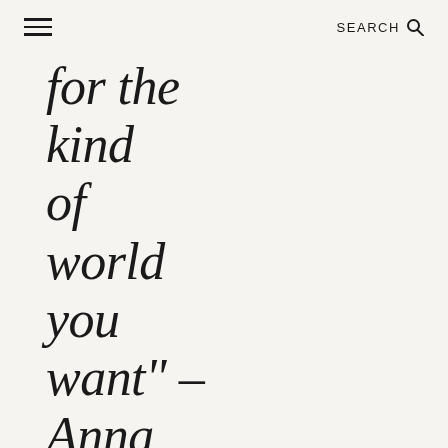SEARCH
for the kind of world you want" – Anna Lappe.
Ethical Made Easy is a global platform that